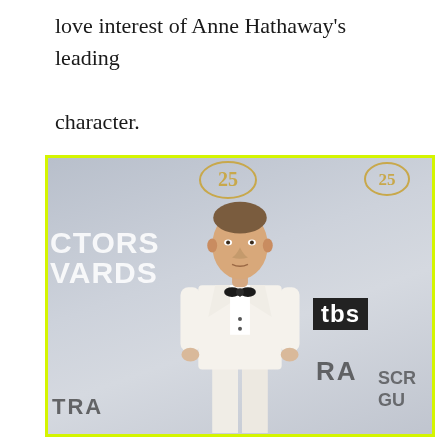love interest of Anne Hathaway's leading character.
[Figure (photo): A man in a white double-breasted suit with black bow tie standing at the SAG Awards red carpet backdrop. The backdrop shows 'ACTORS AWARDS' text, TBS logo, SAG gold badge/number, and other sponsor text. The photo has a bright yellow-green border.]